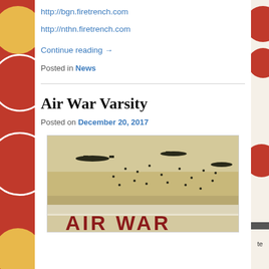http://bgn.firetrench.com
http://nthn.firetrench.com
Continue reading →
Posted in News
Air War Varsity
Posted on December 20, 2017
[Figure (photo): Book cover image for Air War Varsity showing WWII aircraft and parachutes in sky with 'AIR WAR' text at bottom]